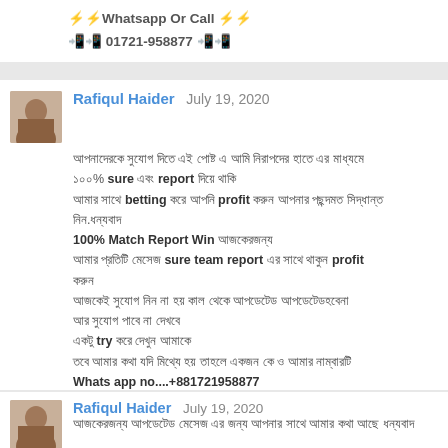⚡⚡Whatsapp Or Call ⚡⚡
📲📲 01721-958877 📲📲
Rafiqul Haider  July 19, 2020
আপনাদেরকে সুযোগ দিতে এই পোষ্ট এ আমি নিরাপদের হাতে এর মাধ্যমে ১০০% sure এবং report দিয়ে থাকি আমার সাথে betting করে আপনি profit করুন আপনার পছন্দমত সিদ্ধান্ত নিন.ধন্যবাদ 100% Match Report Win আজকেরজন্য আমার প্রতিটি মেসেজ sure team report এর সাথে থাকুন profit করুন আজকেই সুযোগ নিন না হয় কাল থেকে আপডেটেড আপডেটেডহবেনা আর সুযোগ পাবে না দেখবে একটু try করে দেখুন আমাকে তবে আমার কথা যদি মিথ্যে হয় তাহলে একজন কে ও আমার নাম্বারটি Whats app no....+881721958877
Rafiqul Haider  July 19, 2020
আজকেরজন্য আপডেটেড মেসেজ এর জন্য আপনার সাথে আমার কথা আছে ধন্যবাদ